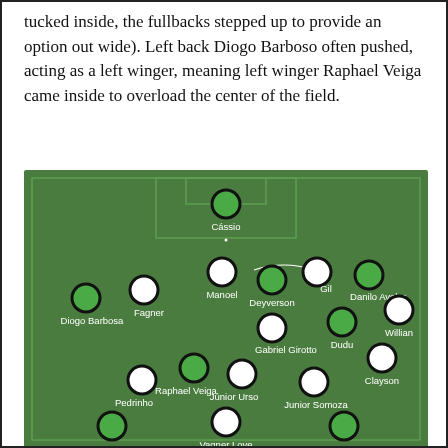tucked inside, the fullbacks stepped up to provide an option out wide). Left back Diogo Barboso often pushed, acting as a left winger, meaning left winger Raphael Veiga came inside to overload the center of the field.
[Figure (other): Football tactical diagram on a green pitch showing player positions. Goalkeeper Cássio at top center (green circle). Defenders: Fagner, Danilo Avelar, Manoel, Diogo Barbosa. Midfielders: Gil, Deyverson, Gabriel Girotto, Raphael Veiga, Júnior Urso, Pedrinho, Dudu, Junior Somoza, Willian, Clayson. Forwards: Vagner Love and others at bottom. Players shown as white circles (outfield) or green circles with black border (highlighted). Player names labeled below each circle.]